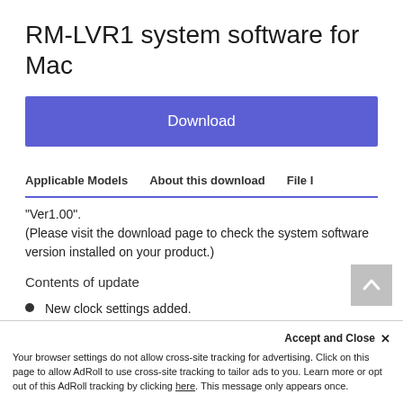RM-LVR1 system software for Mac
Download
Applicable Models   About this download   File I
“Ver1.00”.
(Please visit the download page to check the system software version installed on your product.)
Contents of update
New clock settings added.
Hold button functionality added.
Camera settings added. *1
Accept and Close ×
Your browser settings do not allow cross-site tracking for advertising. Click on this page to allow AdRoll to use cross-site tracking to tailor ads to you. Learn more or opt out of this AdRoll tracking by clicking here. This message only appears once.